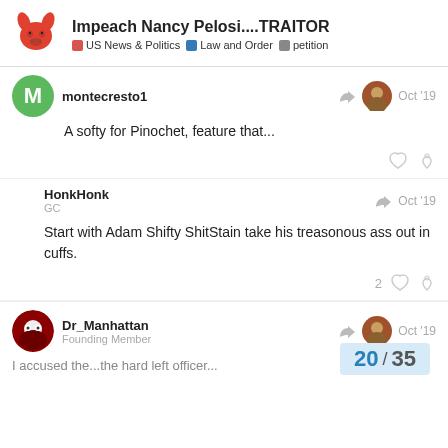Impeach Nancy Pelosi....TRAITOR | US News & Politics | Law and Order | petition
A softy for Pinochet, feature that...
Start with Adam Shifty ShitStain take his treasonous ass out in cuffs.
Dr_Manhattan
Founding Member
Oct '19